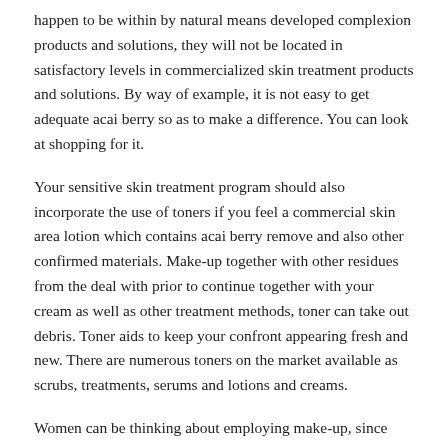happen to be within by natural means developed complexion products and solutions, they will not be located in satisfactory levels in commercialized skin treatment products and solutions. By way of example, it is not easy to get adequate acai berry so as to make a difference. You can look at shopping for it.
Your sensitive skin treatment program should also incorporate the use of toners if you feel a commercial skin area lotion which contains acai berry remove and also other confirmed materials. Make-up together with other residues from the deal with prior to continue together with your cream as well as other treatment methods, toner can take out debris. Toner aids to keep your confront appearing fresh and new. There are numerous toners on the market available as scrubs, treatments, serums and lotions and creams.
Women can be thinking about employing make-up, since make-up can block skin pores and result in pimples. Some skin treatment professionals advocate using cosmetics only at night-time, whilst others have a preference for that you simply don makeup products through the day. What is important is to remember that whatever make-up products you use, you really should be